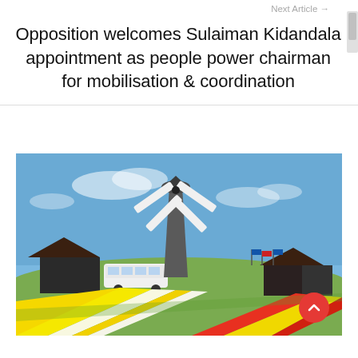Next Article →
Opposition welcomes Sulaiman Kidandala appointment as people power chairman for mobilisation & coordination
[Figure (photo): A Dutch windmill standing prominently in a field of colorful tulips (yellow, red, white stripes) under a clear blue sky. A white bus and a brown barn are visible at the base of the windmill. Flags can be seen in the background.]